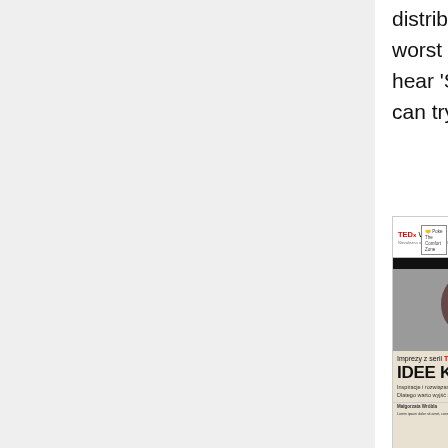distribute in the OTP community. The worst thing that can happen is that you hear 'Sorry, we can't' - and then still you can try to attend.
[Figure (photo): A photograph of a Gazeta Wyborcza newspaper front page featuring a TEDx Warsaw 2013 edition titled 'LUDZIE IDEI' with a group photo of attendees and headline 'IDEE KRĘCĄ ŚWIATEM' (Ideas Drive the World). The paper shows TEDx Warsaw branding and 'Poke The Comfort Zone' text.]